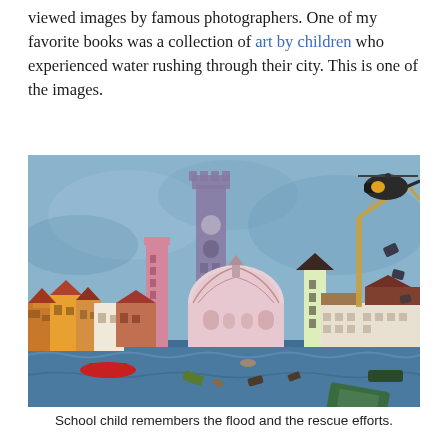viewed images by famous photographers. One of my favorite books was a collection of art by children who experienced water rushing through their city. This is one of the images.
[Figure (illustration): A child's painting depicting a flooded Italian city (Florence) with the Palazzo Vecchio tower, the Florence Cathedral dome, colorful buildings partially submerged in floodwater, a crane with a helicopter in the sky, debris floating in the water, and a red boat.]
School child remembers the flood and the rescue efforts.